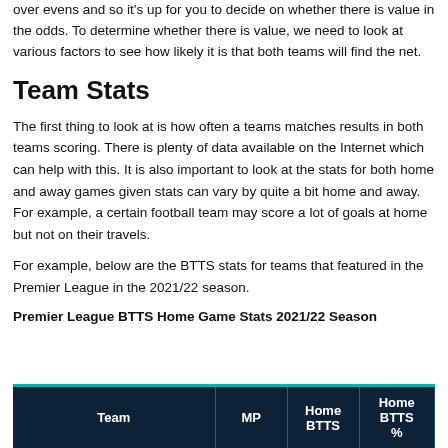over evens and so it's up for you to decide on whether there is value in the odds. To determine whether there is value, we need to look at various factors to see how likely it is that both teams will find the net.
Team Stats
The first thing to look at is how often a teams matches results in both teams scoring. There is plenty of data available on the Internet which can help with this. It is also important to look at the stats for both home and away games given stats can vary by quite a bit home and away. For example, a certain football team may score a lot of goals at home but not on their travels.
For example, below are the BTTS stats for teams that featured in the Premier League in the 2021/22 season.
Premier League BTTS Home Game Stats 2021/22 Season
| Team | MP | Home BTTS | Home BTTS % |
| --- | --- | --- | --- |